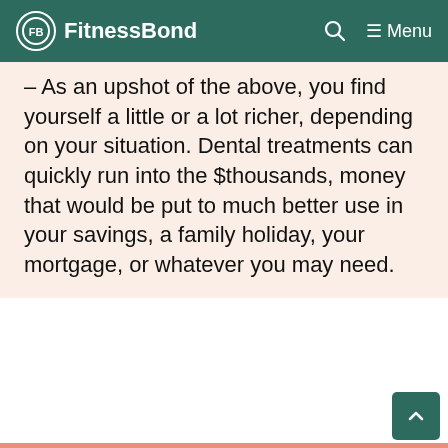FitnessBond
– As an upshot of the above, you find yourself a little or a lot richer, depending on your situation. Dental treatments can quickly run into the $thousands, money that would be put to much better use in your savings, a family holiday, your mortgage, or whatever you may need.
Who Can Benefit From Dentitox Pro?